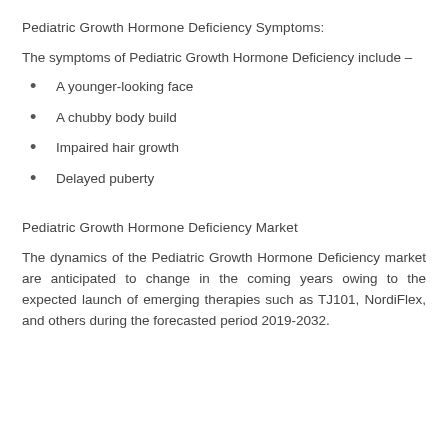Pediatric Growth Hormone Deficiency Symptoms:
The symptoms of Pediatric Growth Hormone Deficiency include –
A younger-looking face
A chubby body build
Impaired hair growth
Delayed puberty
Pediatric Growth Hormone Deficiency Market
The dynamics of the Pediatric Growth Hormone Deficiency market are anticipated to change in the coming years owing to the expected launch of emerging therapies such as TJ101, NordiFlex, and others during the forecasted period 2019-2032.